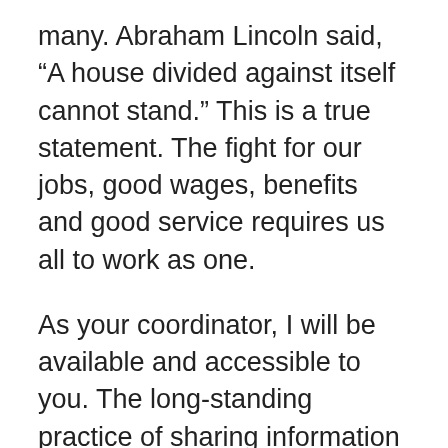many. Abraham Lincoln said, “A house divided against itself cannot stand.” This is a true statement. The fight for our jobs, good wages, benefits and good service requires us all to work as one.
As your coordinator, I will be available and accessible to you. The long-standing practice of sharing information will continue. We will fight as one, because we will be one.
Reversions, here we go again!
Management has once again ramped up